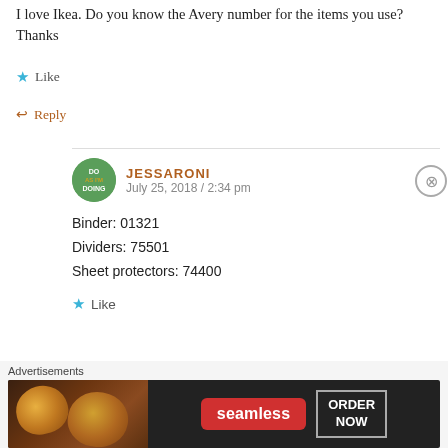I love Ikea. Do you know the Avery number for the items you use? Thanks
Like
Reply
JESSARONI
July 25, 2018 / 2:34 pm
Binder: 01321
Dividers: 75501
Sheet protectors: 74400
Like
[Figure (photo): Seamless food delivery advertisement banner with pizza image, Seamless logo in red badge, and ORDER NOW button]